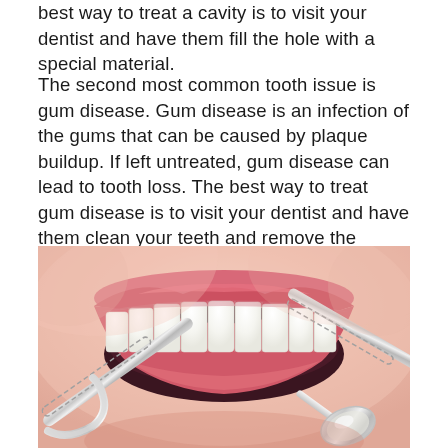best way to treat a cavity is to visit your dentist and have them fill the hole with a special material.
The second most common tooth issue is gum disease. Gum disease is an infection of the gums that can be caused by plaque buildup. If left untreated, gum disease can lead to tooth loss. The best way to treat gum disease is to visit your dentist and have them clean your teeth and remove the plaque.
[Figure (photo): Close-up photo of a person smiling with white teeth, with dental instruments (a scaler and dental mirror) visible near the mouth, suggesting a dental examination.]